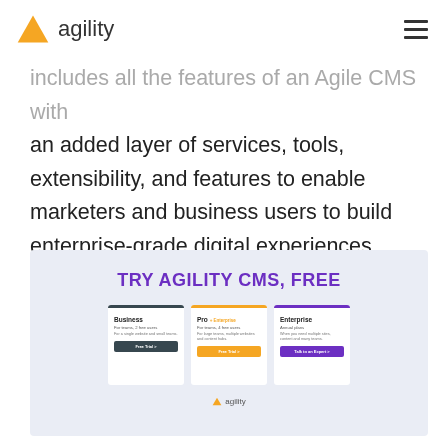agility
includes all the features of an Agile CMS with an added layer of services, tools, extensibility, and features to enable marketers and business users to build enterprise-grade digital experiences.
[Figure (screenshot): Screenshot of Agility CMS pricing page showing 'TRY AGILITY CMS, FREE' heading with three pricing cards: Business, Pro + Enterprise, and Enterprise, each with a call-to-action button.]
However, as for the reasons why Agility CMS